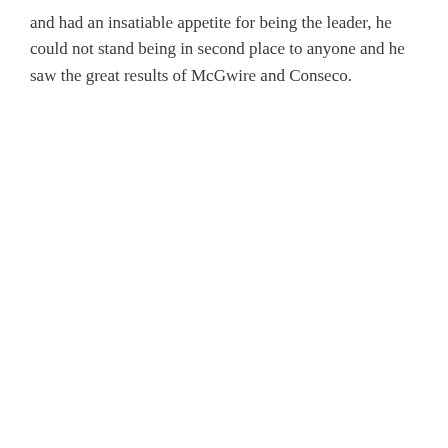and had an insatiable appetite for being the leader, he could not stand being in second place to anyone and he saw the great results of McGwire and Conseco.